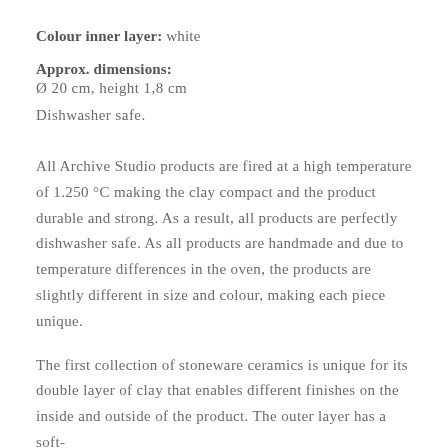Colour inner layer: white
Approx. dimensions:
Ø 20 cm, height 1,8 cm
Dishwasher safe.
All Archive Studio products are fired at a high temperature of 1.250 °C making the clay compact and the product durable and strong. As a result, all products are perfectly dishwasher safe. As all products are handmade and due to temperature differences in the oven, the products are slightly different in size and colour, making each piece unique.
The first collection of stoneware ceramics is unique for its double layer of clay that enables different finishes on the inside and outside of the product. The outer layer has a soft-